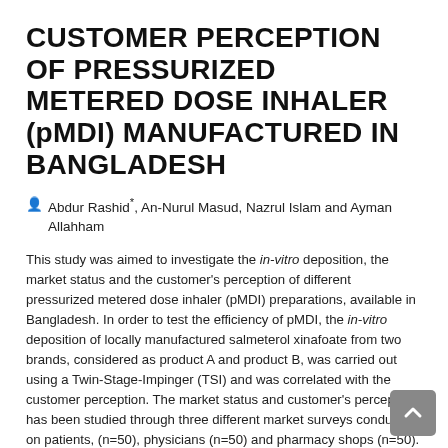CUSTOMER PERCEPTION OF PRESSURIZED METERED DOSE INHALER (pMDI) MANUFACTURED IN BANGLADESH
Abdur Rashid*, An-Nurul Masud, Nazrul Islam and Ayman Allahham
This study was aimed to investigate the in-vitro deposition, the market status and the customer's perception of different pressurized metered dose inhaler (pMDI) preparations, available in Bangladesh. In order to test the efficiency of pMDI, the in-vitro deposition of locally manufactured salmeterol xinafoate from two brands, considered as product A and product B, was carried out using a Twin-Stage-Impinger (TSI) and was correlated with the customer perception. The market status and customer's perception has been studied through three different market surveys conducted on patients, (n=50), physicians (n=50) and pharmacy shops (n=50). In all three surveys the usage pattern of salbutamol has been found to be highest among various antiasthmatic drugs and has showed market share of 18.2 %. The manufacturer of this product occupied the